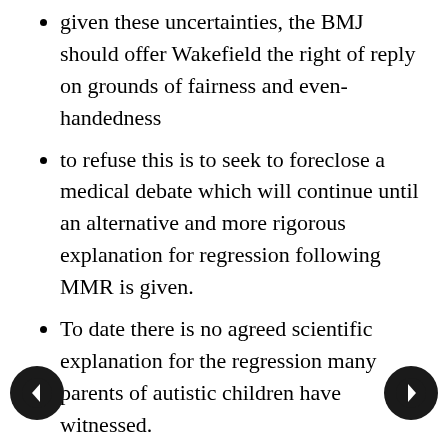given these uncertainties, the BMJ should offer Wakefield the right of reply on grounds of fairness and even-handedness
to refuse this is to seek to foreclose a medical debate which will continue until an alternative and more rigorous explanation for regression following MMR is given.
To date there is no agreed scientific explanation for the regression many parents of autistic children have witnessed.
The BMJ editors and Deer fail to point out that the 5-page paper was a small case series of findings of 12 children with autism and bowel disease which the Lancet placed in its 'early report' section. It was no more than a record